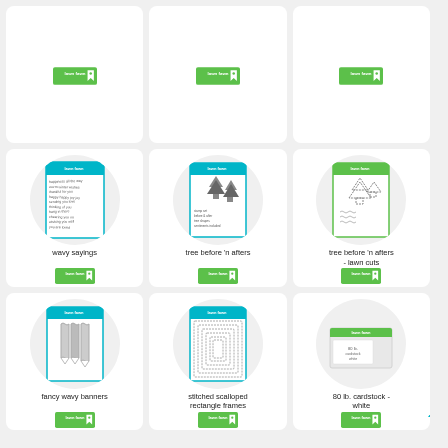[Figure (other): Product grid showing 9 craft supply items in 3 columns. Top row: 3 cards with only Lawn Fawn logos. Middle row: wavy sayings stamp set, tree before 'n afters stamp set, tree before 'n afters lawn cuts die set. Bottom row: fancy wavy banners die set, stitched scalloped rectangle frames die set, 80 lb. cardstock white.]
wavy sayings
tree before 'n afters
tree before 'n afters - lawn cuts
fancy wavy banners
stitched scalloped rectangle frames
80 lb. cardstock - white